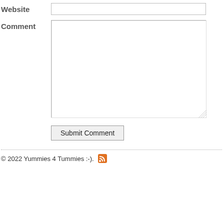Website
Comment
Submit Comment
© 2022 Yummies 4 Tummies :-).